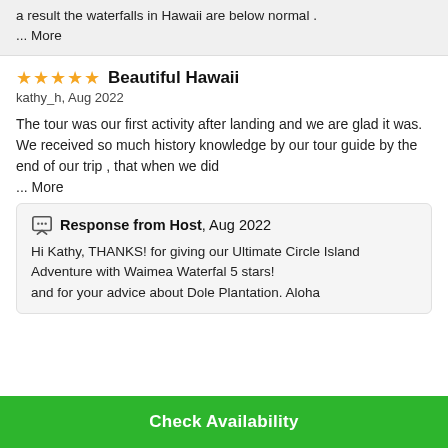a result the waterfalls in Hawaii are below normal . ... More
Beautiful Hawaii
kathy_h, Aug 2022
The tour was our first activity after landing and we are glad it was. We received so much history knowledge by our tour guide by the end of our trip , that when we did ... More
Response from Host, Aug 2022
Hi Kathy, THANKS! for giving our Ultimate Circle Island Adventure with Waimea Waterfal 5 stars! and for your advice about Dole Plantation. Aloha